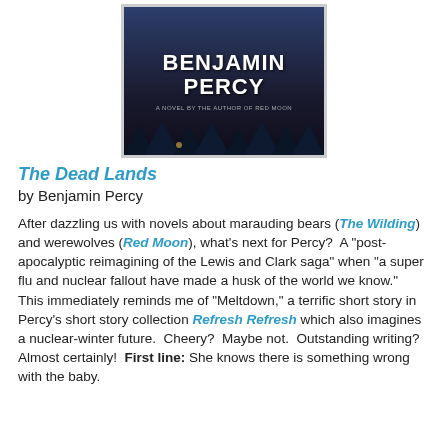[Figure (illustration): Book cover for 'The Dead Lands' by Benjamin Percy. Dark blue/purple background with trees, author name in large white bold text, subtitle 'A novel by the author of Red Moon' in smaller text.]
The Dead Lands
by Benjamin Percy
After dazzling us with novels about marauding bears (The Wilding) and werewolves (Red Moon), what's next for Percy?  A "post-apocalyptic reimagining of the Lewis and Clark saga" when "a super flu and nuclear fallout have made a husk of the world we know."  This immediately reminds me of "Meltdown," a terrific short story in Percy's short story collection Refresh Refresh which also imagines a nuclear-winter future.  Cheery?  Maybe not.  Outstanding writing?  Almost certainly!  First line: She knows there is something wrong with the baby.